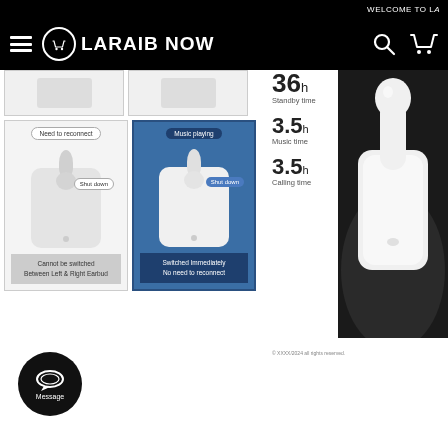WELCOME TO LA
[Figure (screenshot): LARAIB NOW navigation bar with hamburger menu, cart icon logo, brand name, search icon and cart icon on black background]
[Figure (infographic): Product comparison infographic showing two cards: left card (white) shows 'Need to reconnect' and 'Shut down' states with earbud case illustration, footer reads 'Cannot be switched Between Left & Right Earbud'. Right card (blue) shows 'Music playing' and 'Shut down' states with earbud case illustration, footer reads 'Switched Immediately No need to reconnect'.]
[Figure (infographic): Battery life specs panel: standby time 36h, music time 3.5h, calling time 3.5h with large numeric display]
[Figure (photo): Photo of white wireless earbuds (AirPods-style) held in a black-gloved hand against dark background]
© XXXX/2024 all rights reserved.
[Figure (infographic): Message button: black circular button with chat bubble icon and 'Message' label]